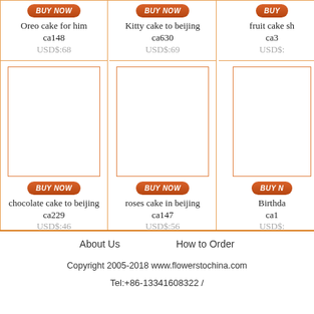[Figure (other): BUY NOW button for Oreo cake product]
Oreo cake for him
ca148
USD$:68
[Figure (other): BUY NOW button for Kitty cake product]
Kitty cake to beijing
ca630
USD$:69
[Figure (other): BUY NOW button for fruit cake product]
fruit cake sh
ca3
USD$:
[Figure (photo): Empty product image placeholder - column 1 bottom]
[Figure (photo): Empty product image placeholder - column 2 bottom]
[Figure (photo): Empty product image placeholder - column 3 bottom]
[Figure (other): BUY NOW button for chocolate cake]
chocolate cake to beijing
ca229
USD$:46
[Figure (other): BUY NOW button for roses cake]
roses cake in beijing
ca147
USD$:56
[Figure (other): BUY NOW button for Birthday cake]
Birthda
ca1
USD$:
About Us
How to Order
Copyright 2005-2018 www.flowerstochina.com
Tel:+86-13341608322 /